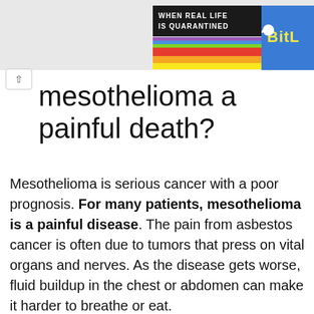[Figure (screenshot): Partial rainbow-colored banner advertisement with text 'WHEN REAL LIFE IS QUARANTINED' and 'BitL' logo on right side, showing rainbow stripes and a white sperm/tadpole graphic on blue background.]
mesothelioma a painful death?
Mesothelioma is serious cancer with a poor prognosis. For many patients, mesothelioma is a painful disease. The pain from asbestos cancer is often due to tumors that press on vital organs and nerves. As the disease gets worse, fluid buildup in the chest or abdomen can make it harder to breathe or eat.